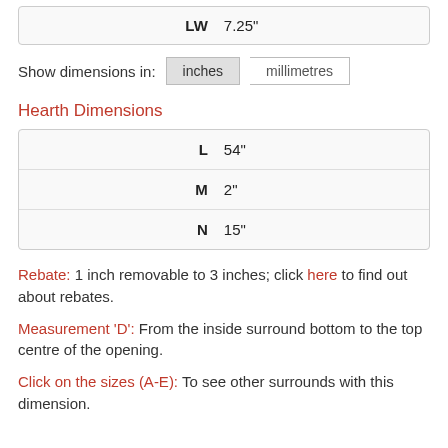| Label | Value |
| --- | --- |
| LW | 7.25" |
Show dimensions in: inches | millimetres
Hearth Dimensions
| Label | Value |
| --- | --- |
| L | 54" |
| M | 2" |
| N | 15" |
Rebate: 1 inch removable to 3 inches; click here to find out about rebates.
Measurement 'D': From the inside surround bottom to the top centre of the opening.
Click on the sizes (A-E): To see other surrounds with this dimension.